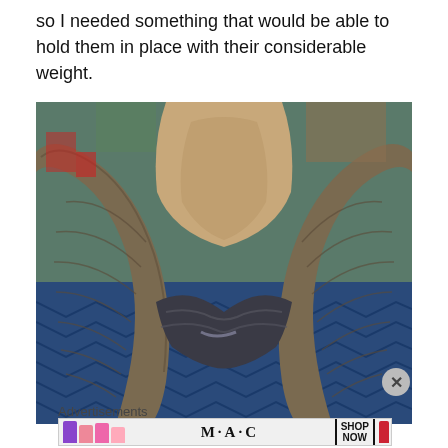so I needed something that would be able to hold them in place with their considerable weight.
[Figure (photo): Close-up photo of large animal horns (likely a buffalo or bull skull mount) attached together at the base with dark gray putty or adhesive material. The horns are textured and brownish-gray, set against a blue patterned fabric background. A smooth tan/brown surface (likely the skull) is visible between the horns.]
Advertisements
[Figure (photo): MAC Cosmetics advertisement banner showing colorful lipsticks on the left, the MAC logo in cursive in the center, and a 'SHOP NOW' call-to-action box with a red lipstick on the right.]